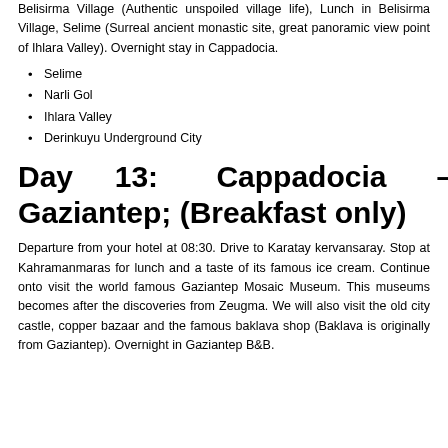Belisirma Village (Authentic unspoiled village life), Lunch in Belisirma Village, Selime (Surreal ancient monastic site, great panoramic view point of Ihlara Valley). Overnight stay in Cappadocia.
Selime
Narli Gol
Ihlara Valley
Derinkuyu Underground City
Day 13: Cappadocia – Gaziantep; (Breakfast only)
Departure from your hotel at 08:30. Drive to Karatay kervansaray. Stop at Kahramanmaras for lunch and a taste of its famous ice cream. Continue onto visit the world famous Gaziantep Mosaic Museum. This museums becomes after the discoveries from Zeugma. We will also visit the old city castle, copper bazaar and the famous baklava shop (Baklava is originally from Gaziantep). Overnight in Gaziantep B&B.